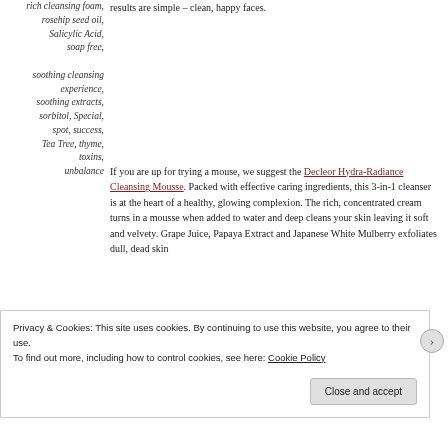rich cleansing foam, rosehip seed oil, Salicylic Acid, soap free, soothing cleansing experience, soothing extracts, sorbitol, Special, spot, success, Tea Tree, thyme, toxins, unbalance
results are simple – clean, happy faces.
If you are up for trying a mouse, we suggest the Decleor Hydra-Radiance Cleansing Mousse. Packed with effective caring ingredients, this 3-in-1 cleanser is at the heart of a healthy, glowing complexion. The rich, concentrated cream turns in a mousse when added to water and deep cleans your skin leaving it soft and velvety. Grape Juice, Papaya Extract and Japanese White Mulberry exfoliates dull, dead skin
Privacy & Cookies: This site uses cookies. By continuing to use this website, you agree to their use.
To find out more, including how to control cookies, see here: Cookie Policy